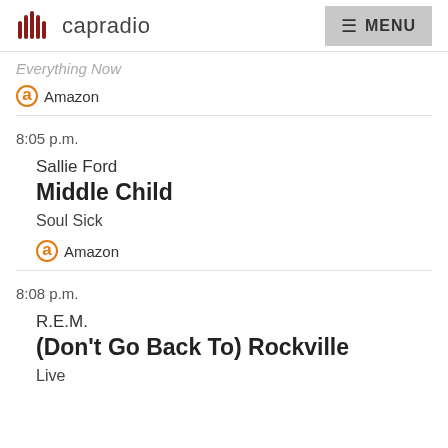capradio | MENU
Everything Now
Amazon
8:05 p.m.
Sallie Ford
Middle Child
Soul Sick
Amazon
8:08 p.m.
R.E.M.
(Don't Go Back To) Rockville
Live